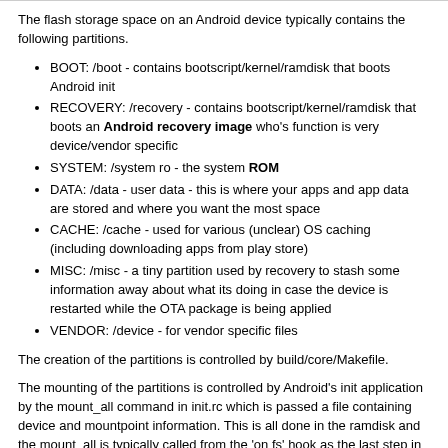The flash storage space on an Android device typically contains the following partitions.
BOOT: /boot - contains bootscript/kernel/ramdisk that boots Android init
RECOVERY: /recovery - contains bootscript/kernel/ramdisk that boots an Android recovery image who's function is very device/vendor specific
SYSTEM: /system ro - the system ROM
DATA: /data - user data - this is where your apps and app data are stored and where you want the most space
CACHE: /cache - used for various (unclear) OS caching (including downloading apps from play store)
MISC: /misc - a tiny partition used by recovery to stash some information away about what its doing in case the device is restarted while the OTA package is being applied
VENDOR: /device - for vendor specific files
The creation of the partitions is controlled by build/core/Makefile.
The mounting of the partitions is controlled by Android's init application by the mount_all command in init.rc which is passed a file containing device and mountpoint information. This is all done in the ramdisk and the mount_all is typically called from the 'on fs' hook as the last step in init.
The storage device partitioning is taken care of with whatever script you use to image android onto a specific device:
device/patworkit/tycotone/mkadcard.sh - for block storage